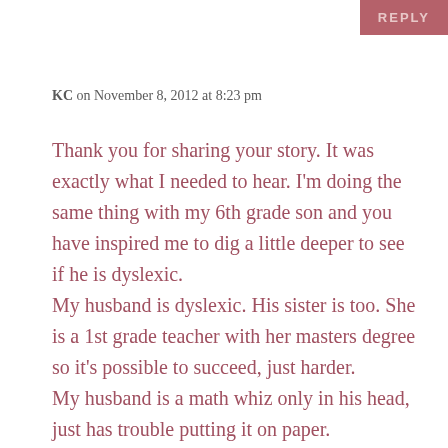REPLY
KC on November 8, 2012 at 8:23 pm
Thank you for sharing your story. It was exactly what I needed to hear. I'm doing the same thing with my 6th grade son and you have inspired me to dig a little deeper to see if he is dyslexic. My husband is dyslexic. His sister is too. She is a 1st grade teacher with her masters degree so it's possible to succeed, just harder. My husband is a math whiz only in his head, just has trouble putting it on paper.